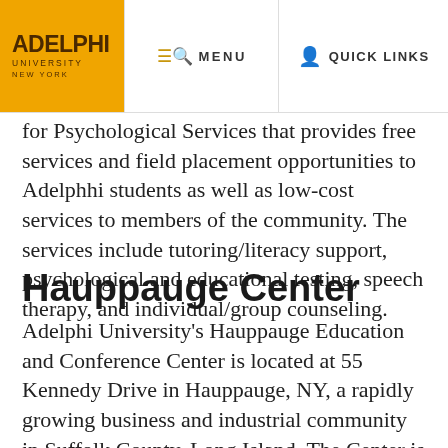ADELPHI UNIVERSITY NEW YORK | MENU | QUICK LINKS
for Psychological Services that provides free services and field placement opportunities to Adelphi students as well as low-cost services to members of the community. The services include tutoring/literacy support, psychological and educational testing, speech therapy, and individual/group counseling.
Hauppauge Center
Adelphi University's Hauppauge Education and Conference Center is located at 55 Kennedy Drive in Hauppauge, NY, a rapidly growing business and industrial community in Suffolk County, Long Island. The Center is located